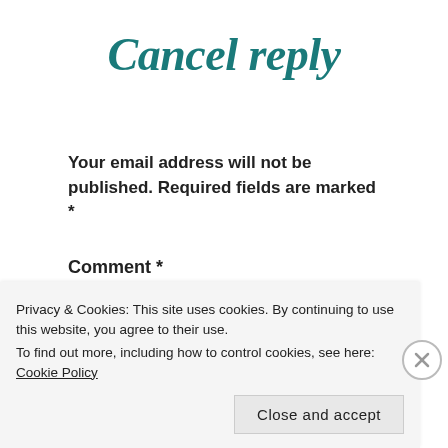Cancel reply
Your email address will not be published. Required fields are marked *
Comment *
Privacy & Cookies: This site uses cookies. By continuing to use this website, you agree to their use.
To find out more, including how to control cookies, see here: Cookie Policy
Close and accept